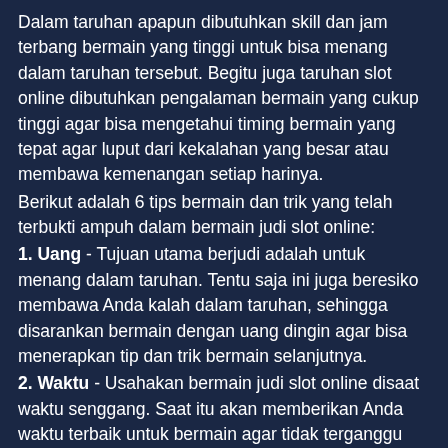Dalam taruhan apapun dibutuhkan skill dan jam terbang bermain yang tinggi untuk bisa menang dalam taruhan tersebut. Begitu juga taruhan slot online dibutuhkan pengalaman bermain yang cukup tinggi agar bisa mengetahui timing bermain yang tepat agar luput dari kekalahan yang besar atau membawa kemenangan setiap harinya.
Berikut adalah 6 tips bermain dan trik yang telah terbukti ampuh dalam bermain judi slot online:
1. Uang - Tujuan utama berjudi adalah untuk menang dalam taruhan. Tentu saja ini juga beresiko membawa Anda kalah dalam taruhan, sehingga disarankan bermain dengan uang dingin agar bisa menerapkan tip dan trik bermain selanjutnya.
2. Waktu - Usahakan bermain judi slot online disaat waktu senggang. Saat itu akan memberikan Anda waktu terbaik untuk bermain agar tidak terganggu dengan hal-hal lainnya yang akan merusak irama dan tempo permainan Anda.
3. Informasi - Memilih slot game yang menawarkan bonus-bonus harian atau event adalah pilihan yang tepat. Karena dengan bonus tersebut akan memberikan Anda kemenangan tambahan dari nilai taruhan yang Anda menangkan dalam taruhan slot.